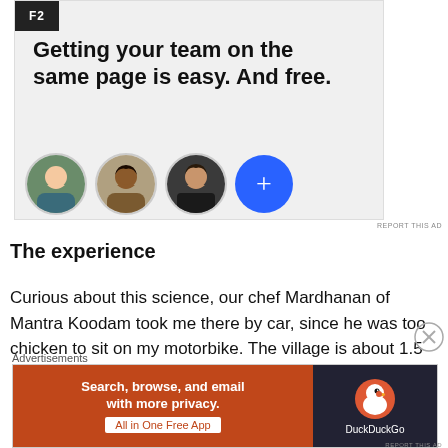[Figure (screenshot): Advertisement banner for a project management/team app showing logo 'F2', headline text 'Getting your team on the same page is easy. And free.' with three person avatars (circular photos) and a blue plus button circle.]
The experience
Curious about this science, our chef Mardhanan of Mantra Koodam took me there by car, since he was too chicken to sit on my motorbike. The village is about 1.5
[Figure (screenshot): Bottom advertisement banner for DuckDuckGo: 'Search, browse, and email with more privacy. All in One Free App' with DuckDuckGo duck logo on dark background.]